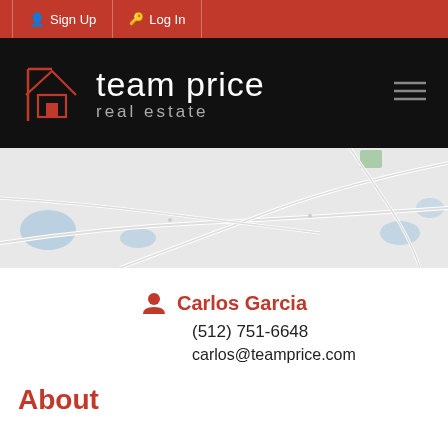Sign Up | Log In
[Figure (logo): Team Price Real Estate logo with house icon on black background]
[Figure (map): Google Maps style road map showing roads, water bodies, and a green area]
Carlos Garcia
(512) 751-6648
carlos@teamprice.com
About